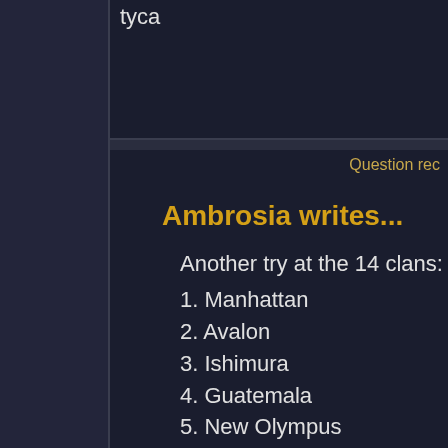tyca
Question rec
Ambrosia writes...
Another try at the 14 clans:
1. Manhattan
2. Avalon
3. Ishimura
4. Guatemala
5. New Olympus
6. Clones/Mutates
7. London
8. Rome
9. Wyvern, Scotland
10. Xanadu, China
11. Loch Ness
12. Ireland
13. Camelot